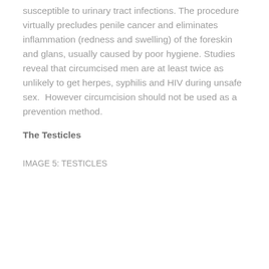susceptible to urinary tract infections. The procedure virtually precludes penile cancer and eliminates inflammation (redness and swelling) of the foreskin and glans, usually caused by poor hygiene. Studies reveal that circumcised men are at least twice as unlikely to get herpes, syphilis and HIV during unsafe sex.  However circumcision should not be used as a prevention method.
The Testicles
IMAGE 5: TESTICLES